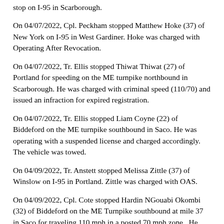stop on I-95 in Scarborough.
On 04/07/2022, Cpl. Peckham stopped Matthew Hoke (37) of New York on I-95 in West Gardiner. Hoke was charged with Operating After Revocation.
On 04/07/2022, Tr. Ellis stopped Thiwat Thiwat (27) of Portland for speeding on the ME turnpike northbound in Scarborough. He was charged with criminal speed (110/70) and issued an infraction for expired registration.
On 04/07/2022, Tr. Ellis stopped Liam Coyne (22) of Biddeford on the ME turnpike southbound in Saco. He was operating with a suspended license and charged accordingly. The vehicle was towed.
On 04/09/2022, Tr. Anstett stopped Melissa Zittle (37) of Winslow on I-95 in Portland. Zittle was charged with OAS.
On 04/09/2022, Cpl. Cote stopped Hardin NGouabi Okombi (32) of Biddeford on the ME Turnpike southbound at mile 37 in Saco for traveling 110 mph in a posted 70 mph zone.  He was charged